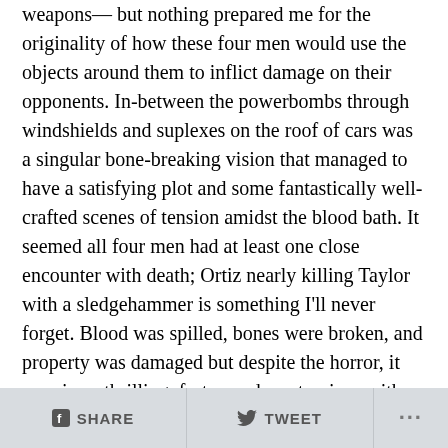weapons— but nothing prepared me for the originality of how these four men would use the objects around them to inflict damage on their opponents. In-between the powerbombs through windshields and suplexes on the roof of cars was a singular bone-breaking vision that managed to have a satisfying plot and some fantastically well-crafted scenes of tension amidst the blood bath. It seemed all four men had at least one close encounter with death; Ortiz nearly killing Taylor with a sledgehammer is something I'll never forget. Blood was spilled, bones were broken, and property was damaged but despite the horror, it remains a thrilling, fast-paced masterpiece with not a dull moment.
In the end, Orange Cassidy emerged from the trunk of a car to help his friends Chuckie T and Trent get the win. If that wasn't enough, Trent's mother Sue arrived on the
SHARE   TWEET   ...